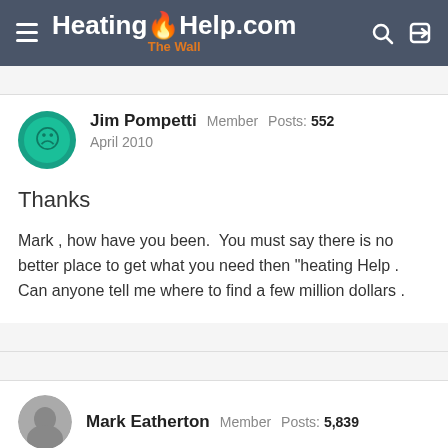HeatingHelp.com The Wall
Jim Pompetti  Member  Posts: 552
April 2010
Thanks
Mark , how have you been.  You must say there is no better place to get what you need then "heating Help . Can anyone tell me where to find a few million dollars .
Mark Eatherton  Member  Posts: 5,839